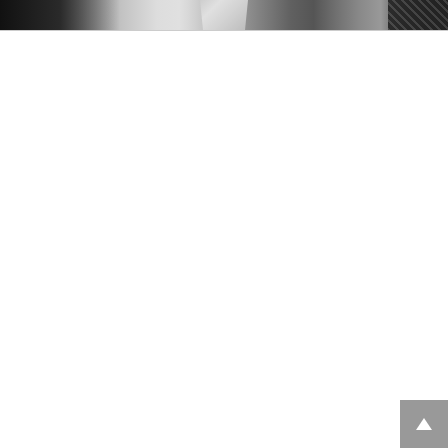[Figure (photo): A person in a white protective suit/coveralls working inside or near a vehicle, visible from the torso down. The background shows dark automotive interior elements and a striped/textured surface on the right side. The image is cropped at the top of the page as a narrow horizontal strip.]